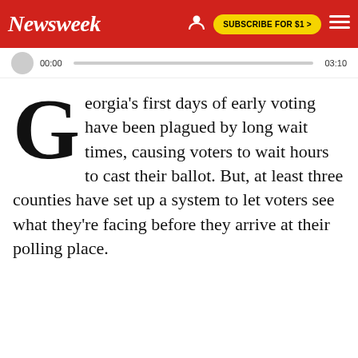Newsweek | SUBSCRIBE FOR $1 >
[Figure (screenshot): Audio player bar showing 00:00 timestamp on left, progress bar in middle, 03:10 timestamp on right]
Georgia's first days of early voting have been plagued by long wait times, causing voters to wait hours to cast their ballot. But, at least three counties have set up a system to let voters see what they're facing before they arrive at their polling place.